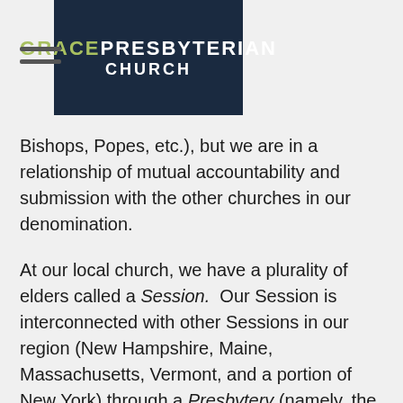GRACE PRESBYTERIAN CHURCH
Bishops, Popes, etc.), but we are in a relationship of mutual accountability and submission with the other churches in our denomination.
At our local church, we have a plurality of elders called a Session. Our Session is interconnected with other Sessions in our region (New Hampshire, Maine, Massachusetts, Vermont, and a portion of New York) through a Presbytery (namely, the Presbytery of New York and New England). At the denomination level, our Presbytery is connected with other Presbyteries from around the country, and this is called the General Assembly. Our denomination is called the Orthodox Presbyterian Church (OPC).
The OPC is committed to upholding the Reformed